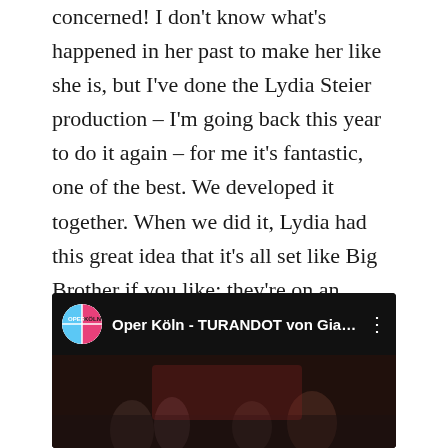concerned! I don't know what's happened in her past to make her like she is, but I've done the Lydia Steier production – I'm going back this year to do it again – for me it's fantastic, one of the best. We developed it together. When we did it, Lydia had this great idea that it's all set like Big Brother if you like: they're on an island, they don't have a lot of money but have found a way of making money by advertising that someone can marry this Princess if they can solve three riddles, then it's the sidekick who comes on and does all the organizing, and then on comes Calaf.
[Figure (screenshot): YouTube video thumbnail for 'Oper Köln - TURANDOT von Giaco...' showing the Oper Köln channel icon (pink and blue circular logo) and a dark preview image of the opera performance.]